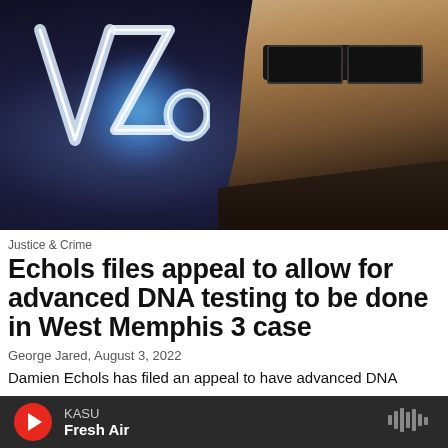[Figure (photo): A man with sunglasses in a dark setting with a neon 'Zo' logo sign visible in the background]
Justice & Crime
Echols files appeal to allow for advanced DNA testing to be done in West Memphis 3 case
George Jared,  August 3, 2022
Damien Echols has filed an appeal to have advanced DNA
KASU Fresh Air